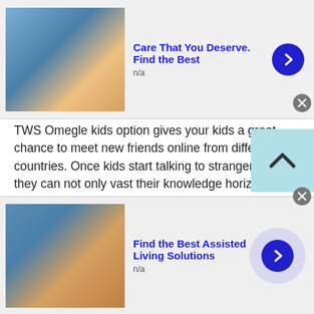[Figure (other): Top advertisement banner: doctor/nurse image on left, bold blue title 'Care That You Deserve. Find the Best', n/a text, blue arrow button, close X button]
TWS Omegle kids option gives your kids a great chance to meet new friends online from different countries. Once kids start talking to strangers online they can not only vast their knowledge horizon also enhance communication skills and boost self-confidence.

In short, TWS Omegle kids chat is a safe, secure and convenient platform for all kids. Parents can surely trust TWS and make their kid's life secure and comfortable.
[Figure (other): Bottom advertisement banner: nurse/caregiver image on left, bold blue title 'Find the Best Assisted Living Solutions', n/a text, circular blue arrow button with light purple background, X close button]